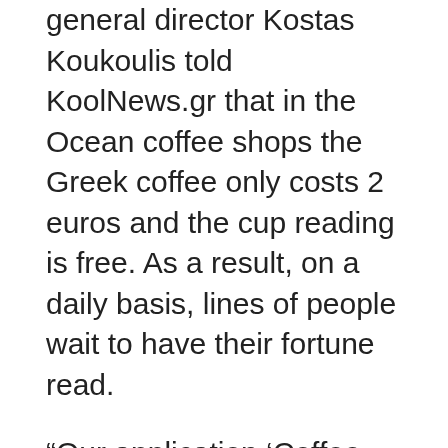general director Kostas Koukoulis told KoolNews.gr that in the Ocean coffee shops the Greek coffee only costs 2 euros and the cup reading is free. As a result, on a daily basis, lines of people wait to have their fortune read.
“Our application ‘Coffee Cup fortune Telling Greek Style’ appeared on play store after six months of work and testing,” Koukoulis told KoolNews.gr.
An entire group of coffee cup fortune tellers already cooperate in the coffee shops. Now they do the same online.
“I believe in the Greek culture and tradition and that we must do our best to perpetuate tradition…